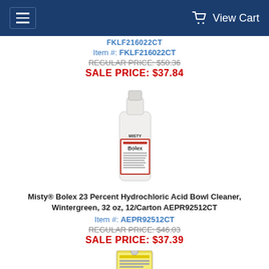View Cart
FKLF216022CT
Item #: FKLF216022CT
REGULAR PRICE: $50.36
SALE PRICE: $37.84
[Figure (photo): Misty Bolex 23 Percent Hydrochloric Acid Bowl Cleaner bottle, white with red label]
Misty® Bolex 23 Percent Hydrochloric Acid Bowl Cleaner, Wintergreen, 32 oz, 12/Carton AEPR92512CT
Item #: AEPR92512CT
REGULAR PRICE: $46.03
SALE PRICE: $37.39
[Figure (photo): Bottom of another cleaning product can, partially visible]